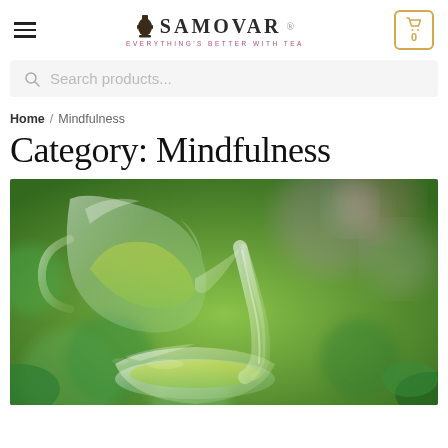SAMOVAR — EVERYTHING'S BETTER WITH TEA
Search products...
Home / Mindfulness
Category: Mindfulness
[Figure (photo): Close-up photo of green tea being poured from a glass teapot into a glass cup, with a vibrant green blurred background suggesting a garden or tea plantation.]